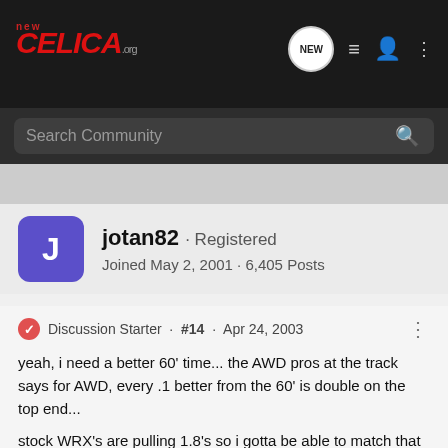[Figure (screenshot): NewCelica.org forum site header logo with red italic CELICA text and .org in gray]
[Figure (screenshot): Forum navigation icons: NEW speech bubble, list icon, person icon, three-dot menu]
Search Community
Discussion Starter · #14 · Apr 24, 2003
jotan82 · Registered
Joined May 2, 2001 · 6,405 Posts
yeah, i need a better 60' time... the AWD pros at the track says for AWD, every .1 better from the 60' is double on the top end...
stock WRX's are pulling 1.8's so i gotta be able to match that and/or beat that... then i'll be in the 13.5 range
stock EVO's run in the 13.4-13.7 range... the best stock evo ran 13.1 :AF: so i got lots of work to do...